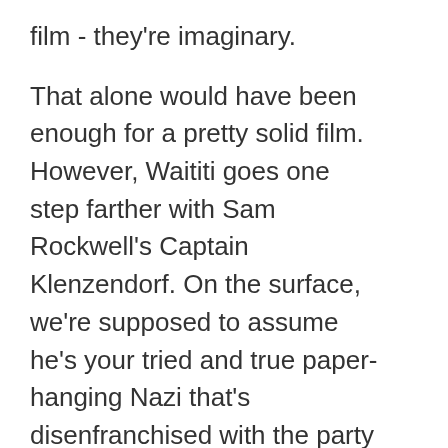film - they're imaginary.
That alone would have been enough for a pretty solid film. However, Waititi goes one step farther with Sam Rockwell's Captain Klenzendorf. On the surface, we're supposed to assume he's your tried and true paper-hanging Nazi that's disenfranchised with the party because an injury that doesn't inhibit his ability to fire a weapon or lead men into battle has relegated him to being little more than a camp counselor. Normally he would be a villain, but he's far from it. Yes, he's a part of the Nazi party - but he's also apparently a closeted homosexual with his assistant Finkel (Alfie Allen) at a time when that would get you killed or have you shipped out on the next train. In addition to several small gestures of humanity, he's